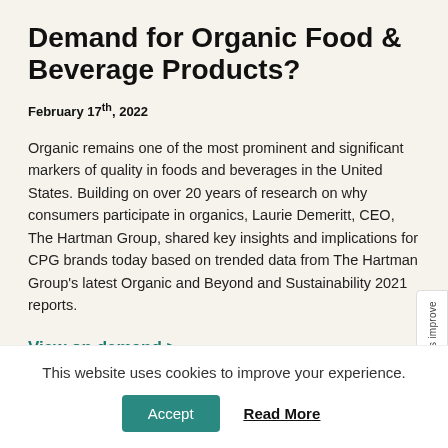Demand for Organic Food & Beverage Products?
February 17th, 2022
Organic remains one of the most prominent and significant markers of quality in foods and beverages in the United States. Building on over 20 years of research on why consumers participate in organics, Laurie Demeritt, CEO, The Hartman Group, shared key insights and implications for CPG brands today based on trended data from The Hartman Group's latest Organic and Beyond and Sustainability 2021 reports.
View on demand >
This website uses cookies to improve your experience.
Accept
Read More